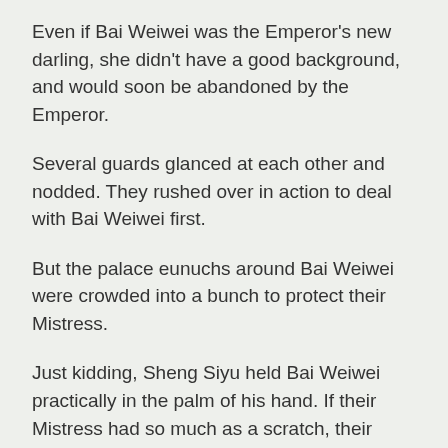Even if Bai Weiwei was the Emperor's new darling, she didn't have a good background, and would soon be abandoned by the Emperor.
Several guards glanced at each other and nodded. They rushed over in action to deal with Bai Weiwei first.
But the palace eunuchs around Bai Weiwei were crowded into a bunch to protect their Mistress.
Just kidding, Sheng Siyu held Bai Weiwei practically in the palm of his hand. If their Mistress had so much as a scratch, their heads would fall.
The Imperial Consort was so angry that she was